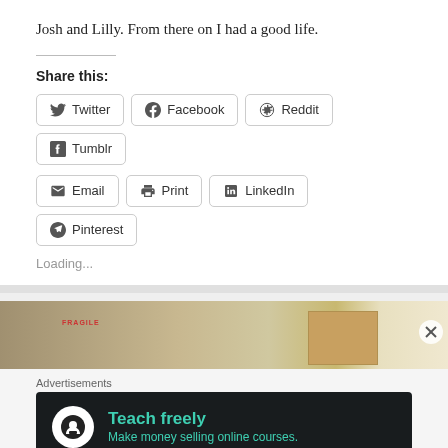Josh and Lilly. From there on I had a good life.
Share this:
Twitter Facebook Reddit Tumblr Email Print LinkedIn Pinterest
Loading...
[Figure (photo): Photo of a room interior with a cardboard box visible, part of an advertisement]
Advertisements
[Figure (infographic): Dark advertisement banner reading 'Teach freely – Make money selling online courses.' with a white circle icon showing a person at a desk.]